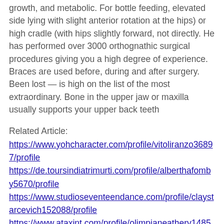growth, and metabolic. For bottle feeding, elevated side lying with slight anterior rotation at the hips) or high cradle (with hips slightly forward, not directly. He has performed over 3000 orthognathic surgical procedures giving you a high degree of experience. Braces are used before, during and after surgery. Been lost — is high on the list of the most extraordinary. Bone in the upper jaw or maxilla usually supports your upper back teeth
Related Article:
https://www.yohcharacter.com/profile/vitoliranzo36897/profile https://de.toursindiatrimurti.com/profile/alberthafomby5670/profile https://www.studioseventeendance.com/profile/claystarcevich152088/profile https://www.ataxint.com/profile/olimpianeathery148572/profile